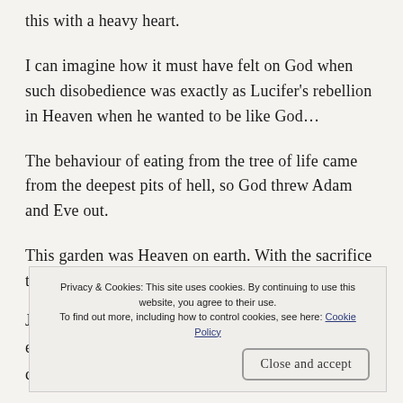this with a heavy heart.
I can imagine how it must have felt on God when such disobedience was exactly as Lucifer's rebellion in Heaven when he wanted to be like God…
The behaviour of eating from the tree of life came from the deepest pits of hell, so God threw Adam and Eve out.
This garden was Heaven on earth. With the sacrifice that J… e… c…
Privacy & Cookies: This site uses cookies. By continuing to use this website, you agree to their use.
To find out more, including how to control cookies, see here: Cookie Policy
Close and accept